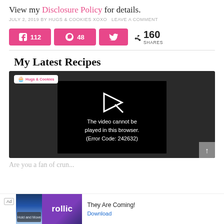View my Disclosure Policy for details.
JULY 2, 2019 BY HUGS & COOKIES XOXO LEAVE A COMMENT
[Figure (infographic): Social share buttons: Facebook 112, Pinterest 48, Twitter (no count), total 160 SHARES]
My Latest Recipes
[Figure (screenshot): Embedded video player showing error: The video cannot be played in this browser. (Error Code: 242632)]
Are you a fan of crun...
[Figure (infographic): Ad banner: Rollic app ad - They Are Coming! with Download button]